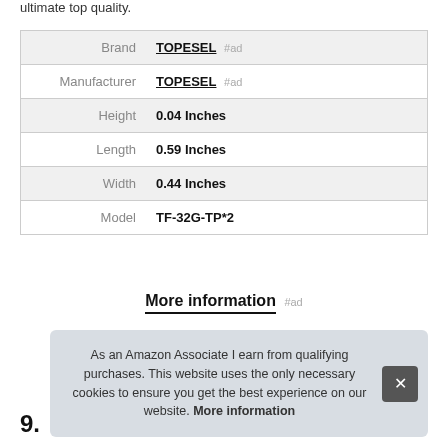ultimate top quality.
| Brand | TOPESEL #ad |
| Manufacturer | TOPESEL #ad |
| Height | 0.04 Inches |
| Length | 0.59 Inches |
| Width | 0.44 Inches |
| Model | TF-32G-TP*2 |
More information #ad
As an Amazon Associate I earn from qualifying purchases. This website uses the only necessary cookies to ensure you get the best experience on our website. More information
9.